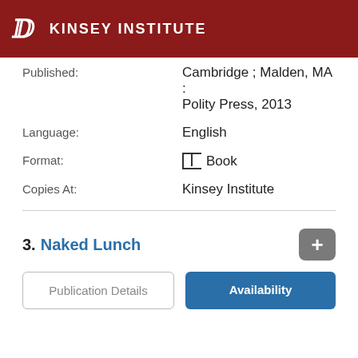KINSEY INSTITUTE
Published:
Cambridge ; Malden, MA : Polity Press, 2013
Language:
English
Format:
Book
Copies At:
Kinsey Institute
3. Naked Lunch
Publication Details
Availability